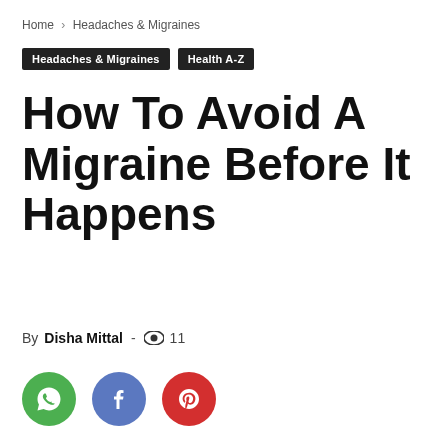Home › Headaches & Migraines
Headaches & Migraines   Health A-Z
How To Avoid A Migraine Before It Happens
By Disha Mittal - 👁 11
[Figure (infographic): Three social share buttons: WhatsApp (green), Facebook (blue), Pinterest (red)]